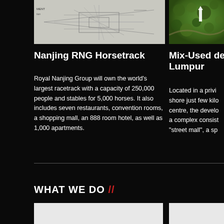[Figure (illustration): Architectural blueprint/schematic drawing on light gray background, with text labels partially visible including 'MENT']
[Figure (photo): Aerial photograph of a green landscape with a white structure/tower visible among trees]
Nanjing RNG Horsetrack
Royal Nanjing Group will own the world's largest racetrack with a capacity of 250,000 people and stables for 5,000 horses. It also includes seven restaurants, convention rooms, a shopping mall, an 888 room hotel, as well as 1,000 apartments.
Mix-Used dev... Lumpur
Located in a privi... shore just few kilo... centre, the develo... a complex consist... "street mall", a sp...
WHAT WE DO //
[Figure (photo): White/light colored image box at bottom left]
[Figure (photo): White/light colored image box at bottom right]